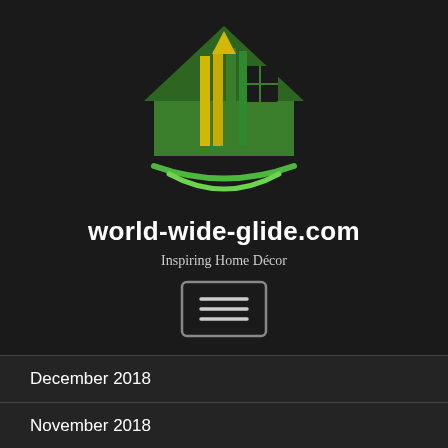[Figure (logo): House/home logo with green house outline, yellow and green vertical bars forming an arrow pointing up, and a green curved swoosh beneath]
world-wide-glide.com
Inspiring Home Décor
[Figure (other): Hamburger menu button icon — three horizontal lines inside a rounded rectangle border]
December 2018
November 2018
October 2018
September 2018